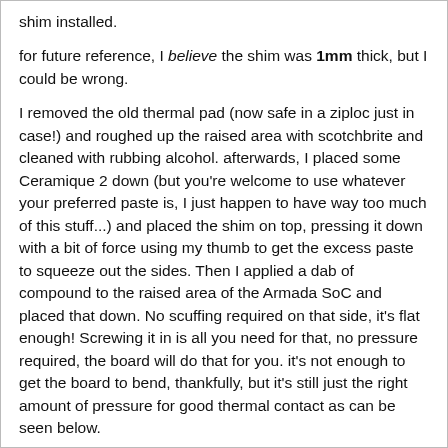shim installed.
for future reference, I believe the shim was 1mm thick, but I could be wrong.
I removed the old thermal pad (now safe in a ziploc just in case!) and roughed up the raised area with scotchbrite and cleaned with rubbing alcohol. afterwards, I placed some Ceramique 2 down (but you're welcome to use whatever your preferred paste is, I just happen to have way too much of this stuff...) and placed the shim on top, pressing it down with a bit of force using my thumb to get the excess paste to squeeze out the sides. Then I applied a dab of compound to the raised area of the Armada SoC and placed that down. No scuffing required on that side, it's flat enough! Screwing it in is all you need for that, no pressure required, the board will do that for you. it's not enough to get the board to bend, thankfully, but it's still just the right amount of pressure for good thermal contact as can be seen below.
Differences between idle and a 30-minute load test: (tests done in an ambient room temp of 19-20C)